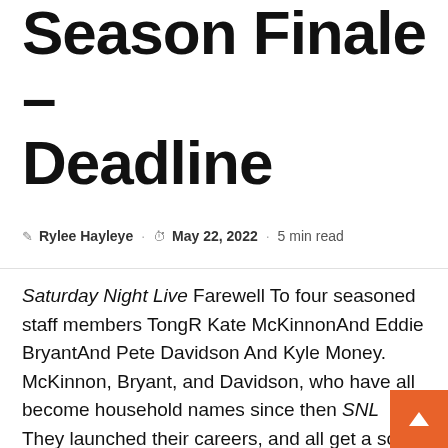Season Finale – Deadline
Rylee Hayleye · May 22, 2022 · 5 min read
Saturday Night Live Farewell To four seasoned staff members TongR Kate McKinnonAnd Eddie BryantAnd Pete Davidson And Kyle Money. McKinnon, Bryant, and Davidson, who have all become household names since then SNL They launched their careers, and all get a solo farewell with some of the most popular recurring skits. Mooney, who spent most of his time on the show as a precious but understated actor, made an